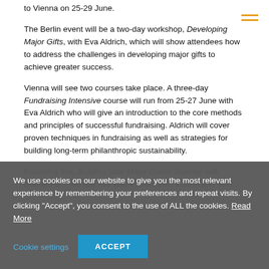to Vienna on 25-29 June.
The Berlin event will be a two-day workshop, Developing Major Gifts, with Eva Aldrich, which will show attendees how to address the challenges in developing major gifts to achieve greater success.
Vienna will see two courses take place. A three-day Fundraising Intensive course will run from 25-27 June with Eva Aldrich who will give an introduction to the core methods and principles of successful fundraising. Aldrich will cover proven techniques in fundraising as well as strategies for building long-term philanthropic sustainability.
Following this, Building your Major Donor Journey with Bernard B... will last four places from 28-29 June and will i...
We use cookies on our website to give you the most relevant experience by remembering your preferences and repeat visits. By clicking "Accept", you consent to the use of ALL the cookies. Read More